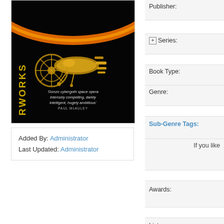[Figure (illustration): Book cover for a science fiction novel titled 'Ironworks' (partial title visible as 'RWORKS' vertically on the left). Dark background with a glowing orange arc at the top. Center shows a golden mechanical/steampunk spacecraft or creature. A quote reads: 'Gonzo cybergoth space opera intensely compelling, darkly intelligent, hugely ambitious' - PAUL McAULEY]
Added By: Administrator
Last Updated: Administrator
Publisher:
Series:
Book Type:
Genre:
Sub-Genre Tags:
If you like
Awards:
Lists:
Links:
Avg Member Rating: